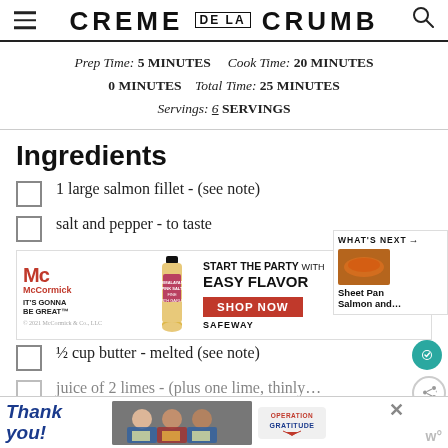CREME DE LA CRUMB
Prep Time: 5 MINUTES   Cook Time: 20 MINUTES   0 MINUTES   Total Time: 25 MINUTES   Servings: 6 SERVINGS
Ingredients
1 large salmon fillet - (see note)
salt and pepper - to taste
[Figure (screenshot): McCormick advertisement: 'START THE PARTY with EASY FLAVOR - SHOP NOW - SAFEWAY']
½ cup butter - melted (see note)
juice of 2 limes - (plus one lime, thinly...
[Figure (screenshot): Operation Gratitude advertisement with 'Thank you!' text and people holding packages]